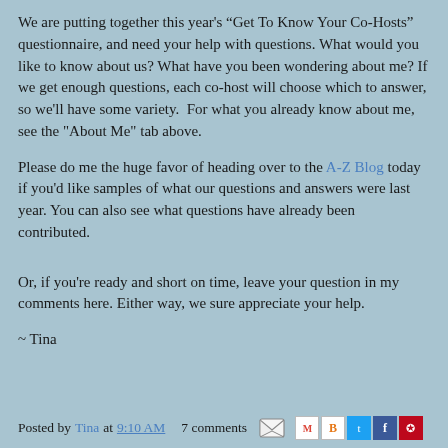We are putting together this year's “Get To Know Your Co-Hosts” questionnaire, and need your help with questions. What would you like to know about us? What have you been wondering about me? If we get enough questions, each co-host will choose which to answer, so we'll have some variety.  For what you already know about me, see the "About Me" tab above.
Please do me the huge favor of heading over to the A-Z Blog today if you'd like samples of what our questions and answers were last year. You can also see what questions have already been contributed.
Or, if you're ready and short on time, leave your question in my comments here. Either way, we sure appreciate your help.
~ Tina
Posted by Tina at 9:10 AM   7 comments